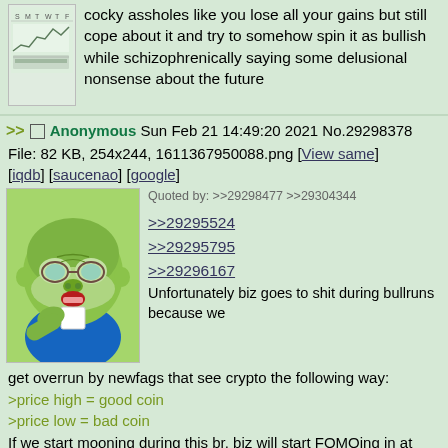cocky assholes like you lose all your gains but still cope about it and try to somehow spin it as bullish while schizophrenically saying some delusional nonsense about the future
Anonymous Sun Feb 21 14:49:20 2021 No.29298378
File: 82 KB, 254x244, 1611367950088.png [View same] [iqdb] [saucenao] [google]
Quoted by: >>29298477 >>29304344
>>29295524
>>29295795
>>29296167
Unfortunately biz goes to shit during bullruns because we get overrun by newfags that see crypto the following way:
>price high = good coin
>price low = bad coin
If we start mooning during this br, biz will start FOMOing in at around 50c. That could get us to $2 during this cycle. Regardless if that happens or not PNK will be at $20 within 5 years.